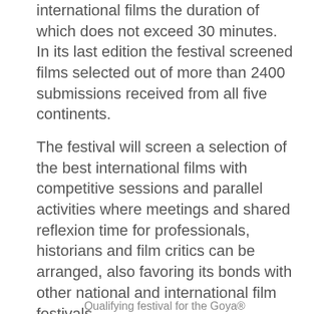international films the duration of which does not exceed 30 minutes. In its last edition the festival screened films selected out of more than 2400 submissions received from all five continents.
The festival will screen a selection of the best international films with competitive sessions and parallel activities where meetings and shared reflexion time for professionals, historians and film critics can be arranged, also favoring its bonds with other national and international film festivals
Qualifying festival for the Goya®